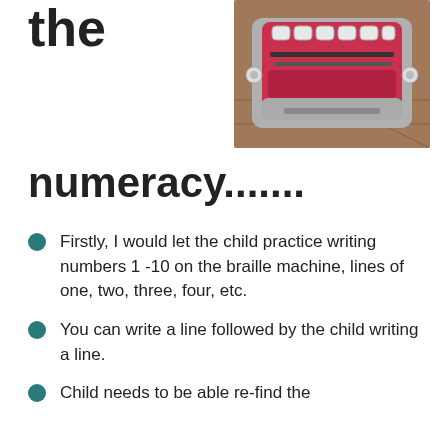the
[Figure (photo): A pink and grey braille writing machine (brailler) photographed from above, showing the keys and paper tray on a tiled floor.]
numeracy.......
Firstly, I would let the child practice writing numbers 1 -10 on the braille machine, lines of one, two, three, four, etc.
You can write a line followed by the child writing a line.
Child needs to be able re-find the